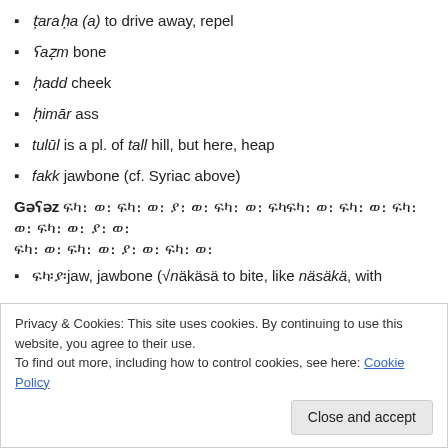ṭaraḥa (a) to drive away, repel
ʕaẓm bone
ḥadd cheek
ḥimār ass
tulūl is a pl. of tall hill, but here, heap
fakk jawbone (cf. Syriac above)
Gəʕəz [Ethiopic script] ...
[Ethiopic]jaw, jawbone (√näkäsä to bite, like näsäkä, with
Privacy & Cookies: This site uses cookies. By continuing to use this website, you agree to their use. To find out more, including how to control cookies, see here: Cookie Policy